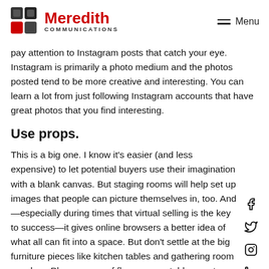Meredith Communications — Menu
pay attention to Instagram posts that catch your eye. Instagram is primarily a photo medium and the photos posted tend to be more creative and interesting. You can learn a lot from just following Instagram accounts that have great photos that you find interesting.
Use props.
This is a big one. I know it's easier (and less expensive) to let potential buyers use their imagination with a blank canvas. But staging rooms will help set up images that people can picture themselves in, too. And—especially during times that virtual selling is the key to success—it gives online browsers a better idea of what all can fit into a space. But don't settle at the big furniture pieces like kitchen tables and gathering room couches. Place a vase of flowers on a table or set single-color accessories to accent features of a room as well give it a homier feel.